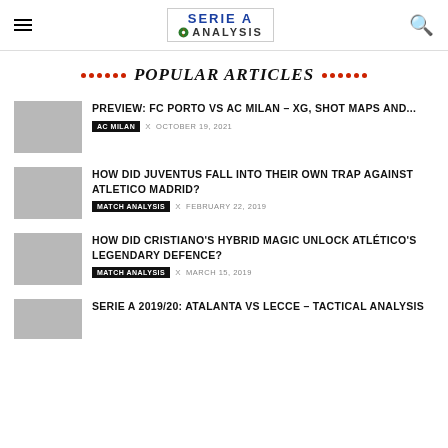Serie A Analysis
POPULAR ARTICLES
PREVIEW: FC PORTO VS AC MILAN – XG, SHOT MAPS AND... | AC MILAN | OCTOBER 19, 2021
HOW DID JUVENTUS FALL INTO THEIR OWN TRAP AGAINST ATLETICO MADRID? | MATCH ANALYSIS | FEBRUARY 22, 2019
HOW DID CRISTIANO'S HYBRID MAGIC UNLOCK ATLÉTICO'S LEGENDARY DEFENCE? | MATCH ANALYSIS | MARCH 15, 2019
SERIE A 2019/20: ATALANTA VS LECCE – TACTICAL ANALYSIS